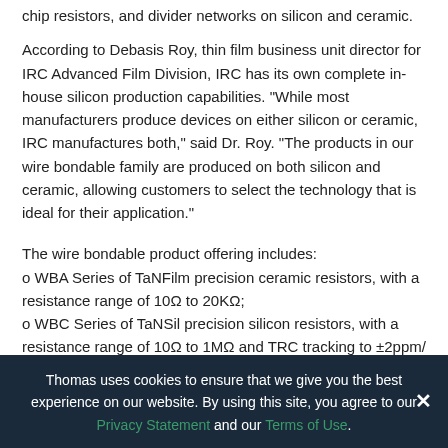chip resistors, and divider networks on silicon and ceramic.
According to Debasis Roy, thin film business unit director for IRC Advanced Film Division, IRC has its own complete in-house silicon production capabilities. "While most manufacturers produce devices on either silicon or ceramic, IRC manufactures both," said Dr. Roy. "The products in our wire bondable family are produced on both silicon and ceramic, allowing customers to select the technology that is ideal for their application."
The wire bondable product offering includes:
o WBA Series of TaNFilm precision ceramic resistors, with a resistance range of 10Ω to 20KΩ;
o WBC Series of TaNSil precision silicon resistors, with a resistance range of 10Ω to 1MΩ and TRC tracking to ±2ppm/
Thomas uses cookies to ensure that we give you the best experience on our website. By using this site, you agree to our Privacy Statement and our Terms of Use.